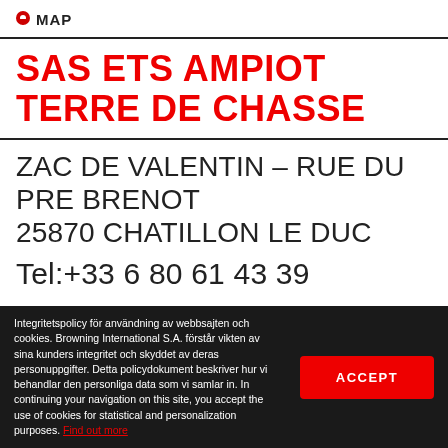MAP
SAS ETS AMPIOT TERRE DE CHASSE
ZAC DE VALENTIN - RUE DU PRE BRENOT
25870 CHATILLON LE DUC
Tel:+33 6 80 61 43 39
Integritetspolicy för användning av webbsajten och cookies. Browning International S.A. förstår vikten av sina kunders integritet och skyddet av deras personuppgifter. Detta policydokument beskriver hur vi behandlar den personliga data som vi samlar in. In continuing your navigation on this site, you accept the use of cookies for statistical and personalization purposes. Find out more